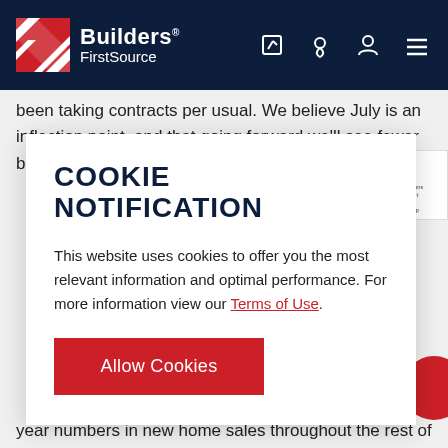[Figure (logo): Builders FirstSource logo on dark navy navigation bar with edit, location, user, and menu icons]
been taking contracts per usual. We believe July is an inflection point, and that going forward we'll see fewer builders capping sales.
COOKIE NOTIFICATION
This website uses cookies to offer you the most relevant information and optimal performance. For more information view our Terms of Use.
Allow Cookies
year numbers in new home sales throughout the rest of